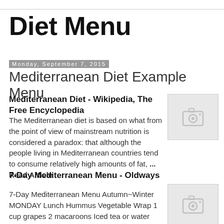Diet Menu
Monday, September 7, 2015
Mediterranean Diet Example Menu
Mediterranean Diet - Wikipedia, The Free Encyclopedia
The Mediterranean diet is based on what from the point of view of mainstream nutrition is considered a paradox: that although the people living in Mediterranean countries tend to consume relatively high amounts of fat, ... Read Article
[Figure (photo): Placeholder image thumbnail with camera icon]
7-Day Mediterranean Menu - Oldways
7-Day Mediterranean Menu Autumn~Winter MONDAY Lunch Hummus Vegetable Wrap 1 cup grapes 2 macaroons Iced tea or water TUESDAY of
[Figure (photo): Placeholder image thumbnail with camera icon]